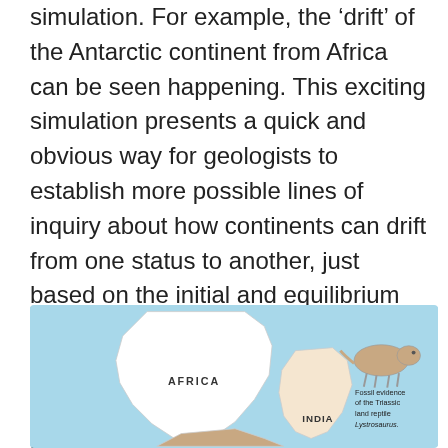simulation. For example, the 'drift' of the Antarctic continent from Africa can be seen happening. This exciting simulation presents a quick and obvious way for geologists to establish more possible lines of inquiry about how continents can drift from one status to another, just based on the initial and equilibrium continental status. Combined with other technological advances, this data-driven method may provide a path to solve Wegener's puzzle of continental drift.
[Figure (illustration): Map illustration showing the ancient supercontinent with Africa and India labeled. A fossil animal (Lystrosaurus) is depicted on the right side with the label 'Fossil evidence of the Triassic land reptile Lystrosaurus.' The background is light blue representing ocean.]